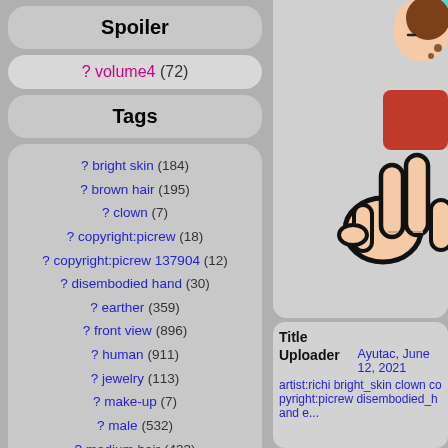Spoiler
? volume4 (72)
Tags
? bright skin (184)
? brown hair (195)
? clown (7)
? copyright:picrew (18)
? copyright:picrew 137904 (12)
? disembodied hand (30)
? earther (359)
? front view (896)
? human (911)
? jewelry (113)
? make-up (7)
? male (532)
? medium hair (433)
? necklace (43)
? peace sign (6)
? red chestwear (57)
? red hair (150)
? shirt (121)
? simple background (987)
? smile (359)
? solo (848)
? transparent background
[Figure (illustration): Cropped illustration showing a cartoon character making a peace sign with their hand. The character appears to have brown/red hair and is wearing a red top. The hand is drawn in a bold comic style with thick black outlines.]
| Label | Value |
| --- | --- |
| Title |  |
| Uploader | Ayutac, June 12, 2021 |
|  | artist:richi bright_skin clown copyright:picrew disembodied_hand e... |